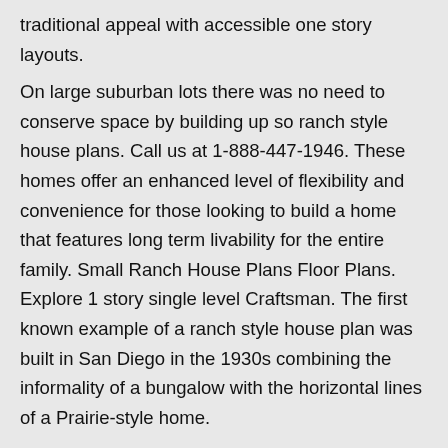traditional appeal with accessible one story layouts.
On large suburban lots there was no need to conserve space by building up so ranch style house plans. Call us at 1-888-447-1946. These homes offer an enhanced level of flexibility and convenience for those looking to build a home that features long term livability for the entire family. Small Ranch House Plans Floor Plans. Explore 1 story single level Craftsman. The first known example of a ranch style house plan was built in San Diego in the 1930s combining the informality of a bungalow with the horizontal lines of a Prairie-style home.
Check out our collection of small ranch house plans. The best small ranch style house plans. Customize any floor plan.
There are no specific exterior features for ranch home